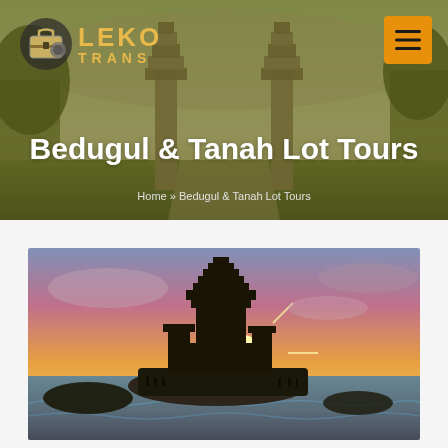[Figure (logo): Leko Trans logo with stylized suitcase icon and yellow text]
Bedugul & Tanah Lot Tours
Home » Bedugul & Tanah Lot Tours
[Figure (photo): Tanah Lot temple at sunset with ocean waves, dramatic sky with sun rays]